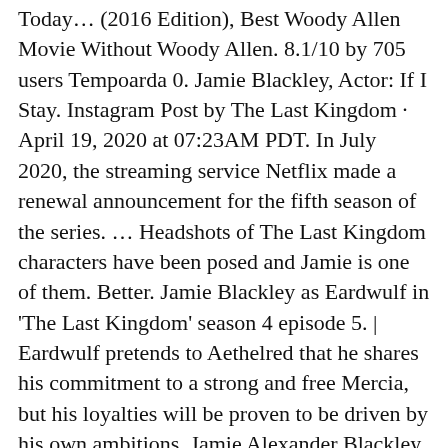Today… (2016 Edition), Best Woody Allen Movie Without Woody Allen. 8.1/10 by 705 users Tempoarda 0. Jamie Blackley, Actor: If I Stay. Instagram Post by The Last Kingdom · April 19, 2020 at 07:23AM PDT. In July 2020, the streaming service Netflix made a renewal announcement for the fifth season of the series. ... Headshots of The Last Kingdom characters have been posed and Jamie is one of them. Better. Jamie Blackley as Eardwulf in 'The Last Kingdom' season 4 episode 5. | Eardwulf pretends to Aethelred that he shares his commitment to a strong and free Mercia, but his loyalties will be proven to be driven by his own ambitions. Jamie Alexander Blackley was born on July 8, 1991 in Douglas, Isle of Man, UK. 17 discută despre asta. The Last Kingdom Season 4 Trailer, Release Date, Cast, Plot, Books, The Last Kingdom: Meet the New Season 4